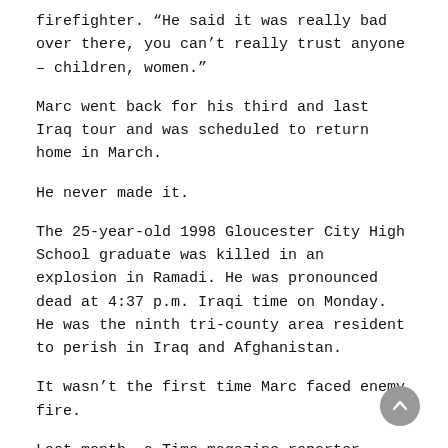firefighter. “He said it was really bad over there, you can’t really trust anyone – children, women.”
Marc went back for his third and last Iraq tour and was scheduled to return home in March.
He never made it.
The 25-year-old 1998 Gloucester City High School graduate was killed in an explosion in Ramadi. He was pronounced dead at 4:37 p.m. Iraqi time on Monday. He was the ninth tri-county area resident to perish in Iraq and Afghanistan.
It wasn’t the first time Marc faced enemy fire.
Last month, a Time magazine reporter tagged along with Marc, who was driving an armored Humvee, in a raid of seven mosques in the Iraqi city of Ramadi.
“We’ll probably get hit tonight,” Marc told Time reporter Phil Zabriskie, as he gazed at a picture of his girlfriend, Kathy Cerminara, just before he drove into what turned out